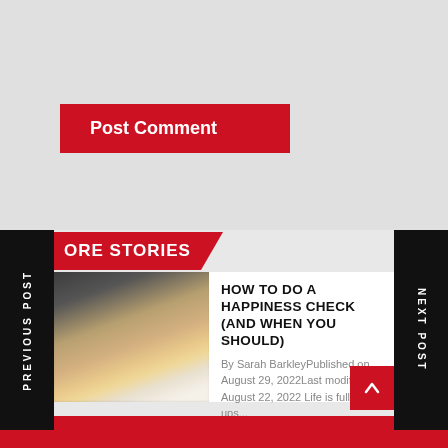Post Comment
MORE STORIES
HOW TO DO A HAPPINESS CHECK (AND WHEN YOU SHOULD)
By Sarah BarkleyPublished on August 29, 2022Last modified August 22, 2022 Life is full of ups...
Manifestationexp
August 29, 2022
PREVIOUS POST
NEXT POST